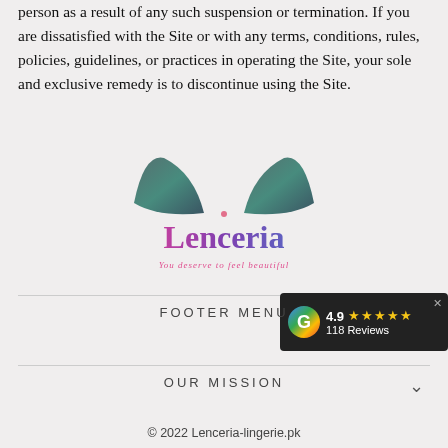person as a result of any such suspension or termination. If you are dissatisfied with the Site or with any terms, conditions, rules, policies, guidelines, or practices in operating the Site, your sole and exclusive remedy is to discontinue using the Site.
[Figure (logo): Lenceria lingerie brand logo with bra silhouette icon above stylized text 'Lenceria' in purple/pink gradient and tagline 'You deserve to feel beautiful' in pink cursive]
FOOTER MENU
OUR MISSION
© 2022 Lenceria-lingerie.pk